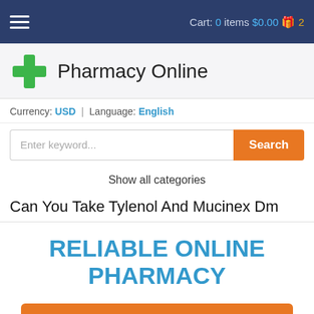Cart: 0 items $0.00 2
Pharmacy Online
Currency: USD | Language: English
Enter keyword... Search
Show all categories
Can You Take Tylenol And Mucinex Dm
RELIABLE ONLINE PHARMACY
> Click here to order now